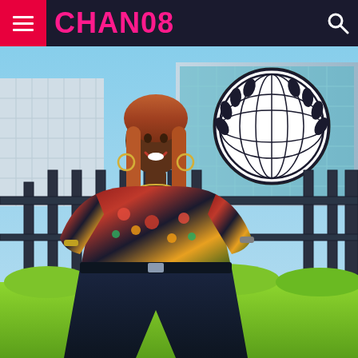CHAN08
[Figure (photo): A woman with long braided hair wearing a colorful floral top and dark pants, smiling and posing in front of a metal fence gate with the United Nations emblem visible in the background. Modern glass buildings and green shrubbery are visible behind her. This appears to be taken outside UN headquarters.]